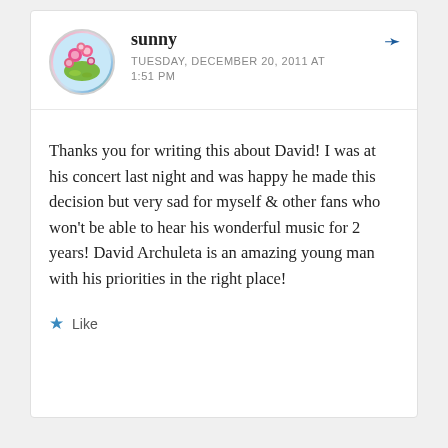sunny
TUESDAY, DECEMBER 20, 2011 AT 1:51 PM
Thanks you for writing this about David! I was at his concert last night and was happy he made this decision but very sad for myself & other fans who won't be able to hear his wonderful music for 2 years! David Archuleta is an amazing young man with his priorities in the right place!
Like